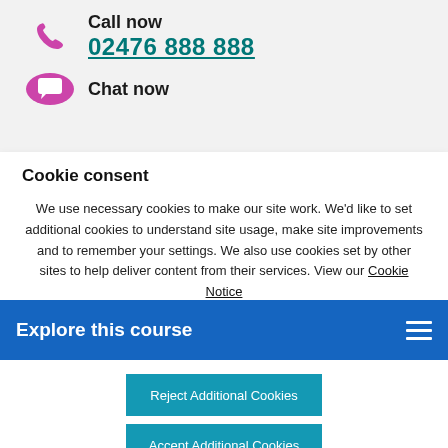[Figure (illustration): Purple phone handset icon on grey background]
Call now
02476 888 888
[Figure (illustration): Purple chat/speech bubble icon on grey background]
Chat now
Cookie consent
We use necessary cookies to make our site work. We'd like to set additional cookies to understand site usage, make site improvements and to remember your settings. We also use cookies set by other sites to help deliver content from their services. View our Cookie Notice
Explore this course
Reject Additional Cookies
Accept Additional Cookies